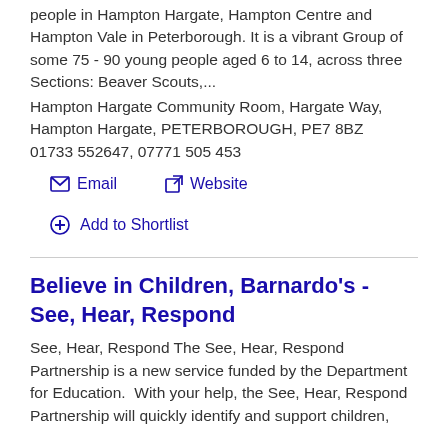people in Hampton Hargate, Hampton Centre and Hampton Vale in Peterborough. It is a vibrant Group of some 75 - 90 young people aged 6 to 14, across three Sections: Beaver Scouts,...
Hampton Hargate Community Room, Hargate Way, Hampton Hargate, PETERBOROUGH, PE7 8BZ
01733 552647, 07771 505 453
Email
Website
Add to Shortlist
Believe in Children, Barnardo's - See, Hear, Respond
See, Hear, Respond The See, Hear, Respond Partnership is a new service funded by the Department for Education.  With your help, the See, Hear, Respond Partnership will quickly identify and support children,